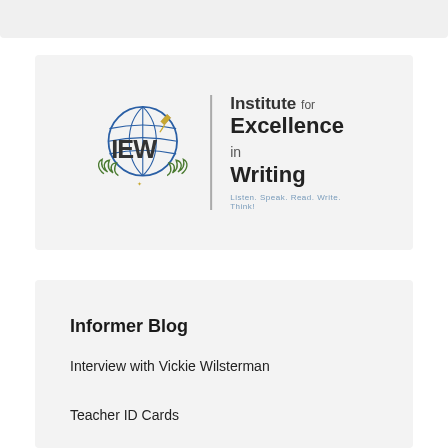[Figure (logo): IEW (Institute for Excellence in Writing) logo with globe icon, pen, laurel wreath, vertical divider line, and text reading 'Institute for Excellence in Writing. Listen. Speak. Read. Write. Think!']
Informer Blog
Interview with Vickie Wilsterman
Teacher ID Cards